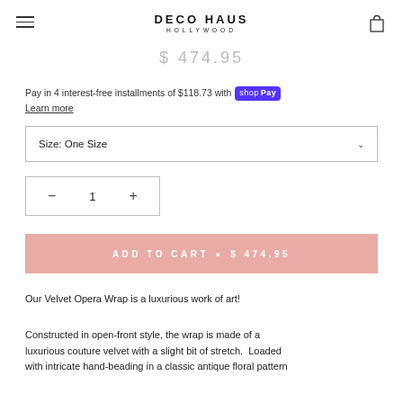DECO HAUS HOLLYWOOD
$ 474.95
Pay in 4 interest-free installments of $118.73 with shop Pay
Learn more
Size: One Size
− 1 +
ADD TO CART • $ 474.95
Our Velvet Opera Wrap is a luxurious work of art!
Constructed in open-front style, the wrap is made of a luxurious couture velvet with a slight bit of stretch. Loaded with intricate hand-beading in a classic antique floral pattern